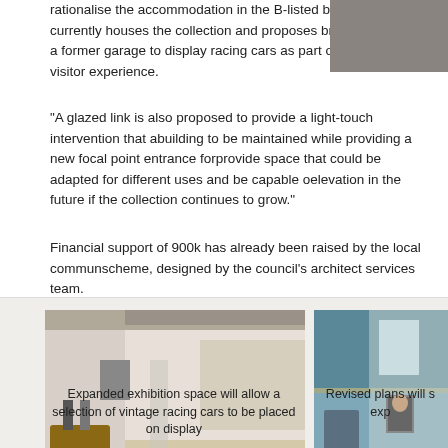rationalise the accommodation in the B-listed building that currently houses the collection and proposes bringing into use a former garage to display racing cars as part of the overall visitor experience.
"A glazed link is also proposed to provide a light-touch intervention that allows the character of the building to be maintained while providing a new focal point entrance for the museum and could provide space that could be adapted for different uses and be capable of extension from the rear elevation in the future if the collection continues to grow."
Financial support of 900k has already been raised by the local community for the scheme, designed by the council's architect services team.
[Figure (photo): Interior rendering of expanded exhibition space showing vintage racing cars including a green and yellow single-seater Formula car on a light wood floor with white walls and gallery area in background]
Expanded exhibition space will allow a selection of vintage racing cars to be placed on display
[Figure (photo): Interior rendering showing revised plans with blue walls, upper level balcony, wooden furniture and artwork on walls]
Revised plans will s... exp...